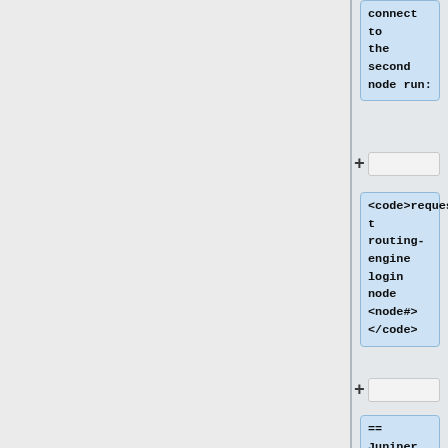connect to the second node run:
+
<code>request routing-engine login node <node#> </code>
+
== Juniper ==
+
=== How to block an IP address ===